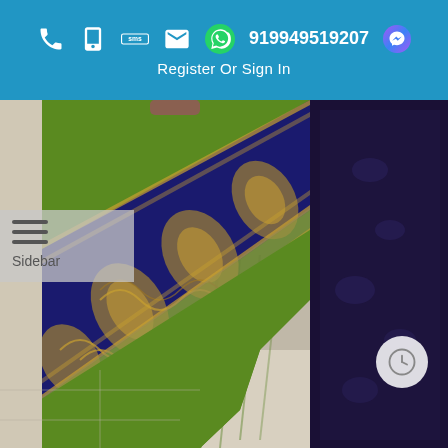919949519207 | Register Or Sign In
[Figure (photo): A green silk saree with a wide navy blue and gold zari woven border featuring intricate paisley and floral motifs, draped on a person, photographed indoors.]